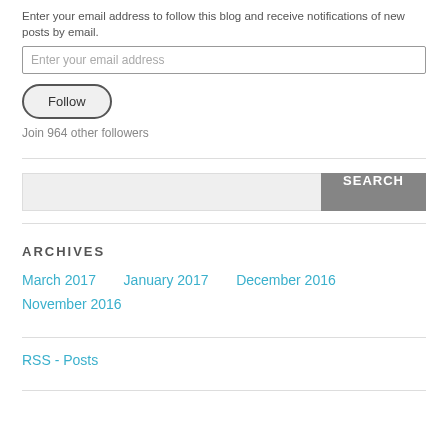Enter your email address to follow this blog and receive notifications of new posts by email.
Enter your email address
Follow
Join 964 other followers
SEARCH
ARCHIVES
March 2017
January 2017
December 2016
November 2016
RSS - Posts